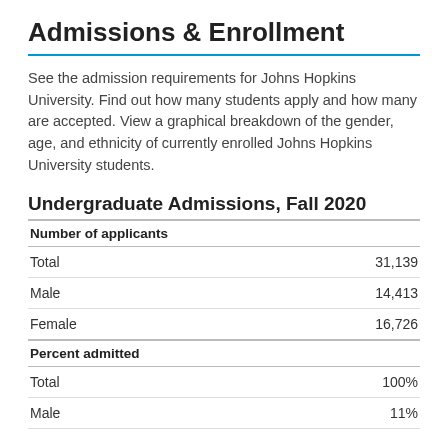Admissions & Enrollment
See the admission requirements for Johns Hopkins University. Find out how many students apply and how many are accepted. View a graphical breakdown of the gender, age, and ethnicity of currently enrolled Johns Hopkins University students.
Undergraduate Admissions, Fall 2020
|  |  |
| --- | --- |
| Number of applicants |  |
| Total | 31,139 |
| Male | 14,413 |
| Female | 16,726 |
| Percent admitted |  |
| Total | 100% |
| Male | 11% |